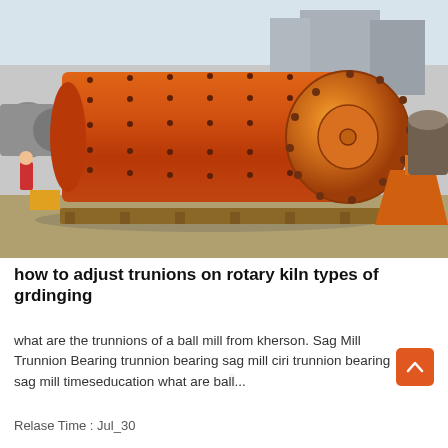[Figure (photo): Photograph of a large orange industrial ball mill / grinding mill sitting outdoors on a factory floor. The cylindrical drum is orange/red with bolts, and has a large circular end cap on the right side with orange support structures. A second smaller grey mill is visible in the background left. A worker in red is visible near the left. The machine sits on wooden pallets on a concrete/dirt ground, with grey industrial buildings in the background.]
how to adjust trunions on rotary kiln types of grdinging
what are the trunnions of a ball mill from kherson. Sag Mill Trunnion Bearing trunnion bearing sag mill ciri trunnion bearing sag mill timeseducation what are ball...
Relase Time : Jul_30